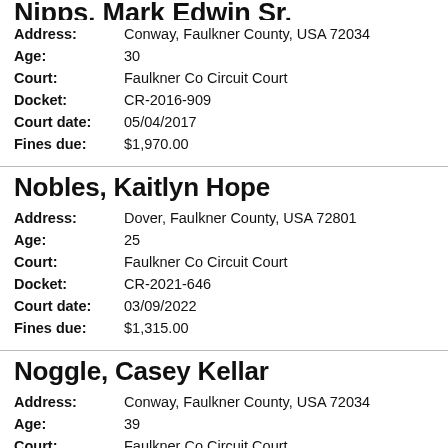Nipps, Mark Edwin Sr.
Address: Conway, Faulkner County, USA 72034
Age: 30
Court: Faulkner Co Circuit Court
Docket: CR-2016-909
Court date: 05/04/2017
Fines due: $1,970.00
Nobles, Kaitlyn Hope
Address: Dover, Faulkner County, USA 72801
Age: 25
Court: Faulkner Co Circuit Court
Docket: CR-2021-646
Court date: 03/09/2022
Fines due: $1,315.00
Noggle, Casey Kellar
Address: Conway, Faulkner County, USA 72034
Age: 39
Court: Faulkner Co Circuit Court
Docket: CR-2018-1252...
Court date: 03/23/2020
Fines due: $1,125.00